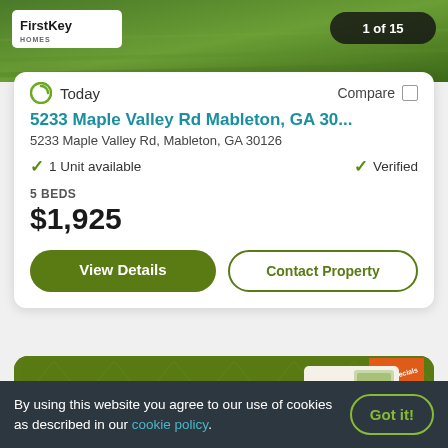[Figure (screenshot): Green lawn/grass hero image at top of property listing card with FirstKey Homes logo and '1 of 15' badge]
Today
Compare
5233 Maple Valley Rd Mableton, GA 30...
5233 Maple Valley Rd, Mableton, GA 30126
1 Unit available
Verified
5 BEDS
$1,925
View Details
Contact Property
[Figure (illustration): Green promotional card with rent specials banner and illustrated living room scene]
By using this website you agree to our use of cookies as described in our cookie policy.
Got it!